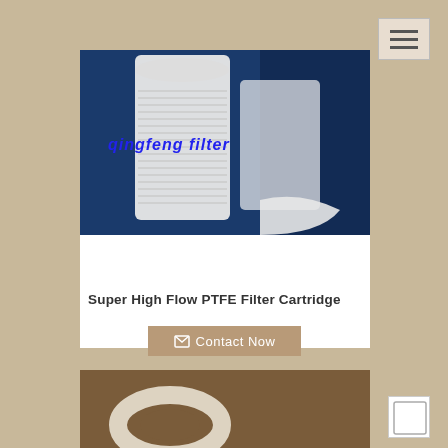[Figure (photo): White PTFE filter cartridge on blue background with 'qingfeng filter' brand text in blue italic]
Super High Flow PTFE Filter Cartridge
[Figure (illustration): Contact Now button with envelope icon on tan/brown background]
[Figure (photo): Partial view of another white filter product on brown background]